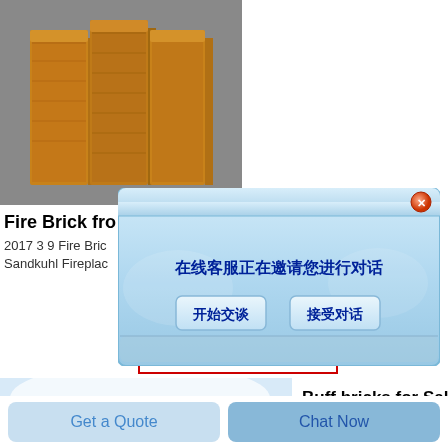[Figure (photo): Three brown fire bricks standing upright side by side on a gray surface]
Fire Bro
2017 3 9 Fire Bric
Sandkuhl Fireplac
[Figure (screenshot): Chinese live chat popup dialog overlay with message '在线客服正在邀请您进行对话' and two buttons '开始交谈' and '接受对话']
[Figure (photo): Single brown buff brick on a white/light blue background]
Buff bricks for Sale
Harvest buff new facing bricks
New Moston Manchester
Get a Quote
Chat Now